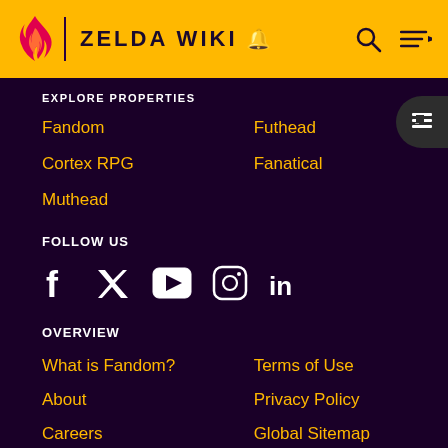ZELDA WIKI
EXPLORE PROPERTIES
Fandom
Futhead
Cortex RPG
Fanatical
Muthead
FOLLOW US
[Figure (infographic): Social media icons: Facebook, Twitter, YouTube, Instagram, LinkedIn]
OVERVIEW
What is Fandom?
Terms of Use
About
Privacy Policy
Careers
Global Sitemap